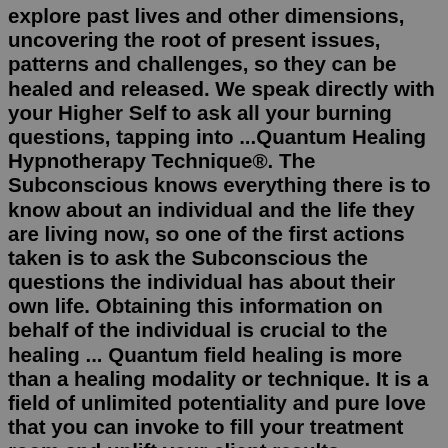explore past lives and other dimensions, uncovering the root of present issues, patterns and challenges, so they can be healed and released. We speak directly with your Higher Self to ask all your burning questions, tapping into ...Quantum Healing Hypnotherapy Technique®. The Subconscious knows everything there is to know about an individual and the life they are living now, so one of the first actions taken is to ask the Subconscious the questions the individual has about their own life. Obtaining this information on behalf of the individual is crucial to the healing ... Quantum field healing is more than a healing modality or technique. It is a field of unlimited potentiality and pure love that you can invoke to fill your treatment room and uplift your client results. Quantum field healing is not really something that you "do", but you can definitely learn how to work with it. ...What is quantum medicine and how is health or disease observed through classic and quantum medicine? Speakers: Predrag Dugalic MD